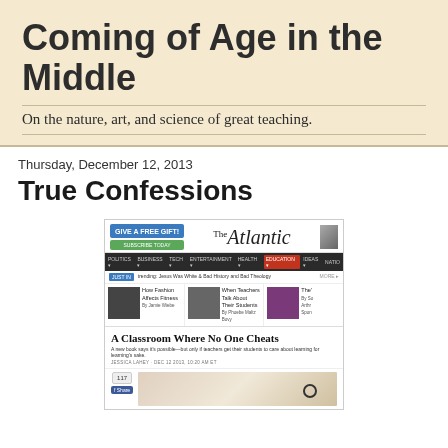Coming of Age in the Middle
On the nature, art, and science of great teaching.
Thursday, December 12, 2013
True Confessions
[Figure (screenshot): Screenshot of The Atlantic website showing navigation bar, article thumbnails including 'How Fashion Affects Fitness' and 'When Teachers Talk About Their Students', and an article headline 'A Classroom Where No One Cheats' with subheadline and author info, plus a partial photo of a hand.]